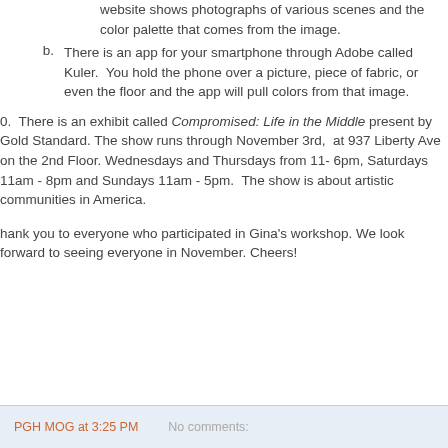website shows photographs of various scenes and the color palette that comes from the image.
b.  There is an app for your smartphone through Adobe called Kuler.  You hold the phone over a picture, piece of fabric, or even the floor and the app will pull colors from that image.
0.  There is an exhibit called Compromised: Life in the Middle present by Gold Standard. The show runs through November 3rd,  at 937 Liberty Ave on the 2nd Floor. Wednesdays and Thursdays from 11- 6pm, Saturdays 11am - 8pm and Sundays 11am - 5pm.  The show is about artistic communities in America.
Thank you to everyone who participated in Gina's workshop. We look forward to seeing everyone in November. Cheers!
PGH MOG at 3:25 PM     No comments: